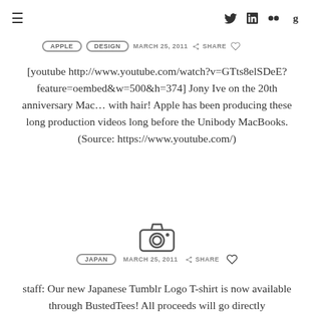≡  [twitter] [linkedin] [flickr] [goodreads]
APPLE  DESIGN  MARCH 25, 2011  SHARE
[youtube http://www.youtube.com/watch?v=GTts8elSDeE?feature=oembed&w=500&h=374] Jony Ive on the 20th anniversary Mac… with hair! Apple has been producing these long production videos long before the Unibody MacBooks. (Source: https://www.youtube.com/)
[Figure (illustration): Camera icon (outline style)]
JAPAN  MARCH 25, 2011  SHARE
staff: Our new Japanese Tumblr Logo T-shirt is now available through BustedTees! All proceeds will go directly